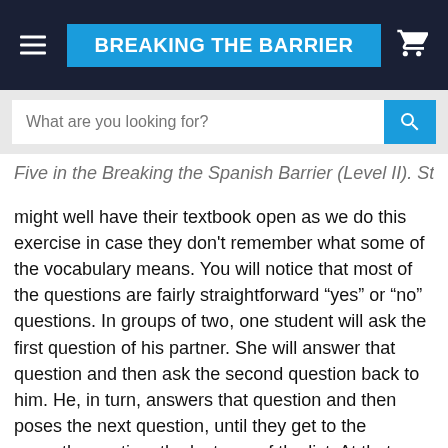BREAKING THE BARRIER
What are you looking for?
Five in the Breaking the Spanish Barrier (Level II). Students might well have their textbook open as we do this exercise in case they don't remember what some of the vocabulary means. You will notice that most of the questions are fairly straightforward “yes” or “no” questions. In groups of two, one student will ask the first question of his partner. She will answer that question and then ask the second question back to him. He, in turn, answers that question and then poses the next question, until they get to the seventh question, the last one of the list. At that point, the person who answers that seventh question will now go back to ask the very first question of the very same list. The person who last time answered the first question will now get to ask it. The one who asked it will now answer. The second time through, the